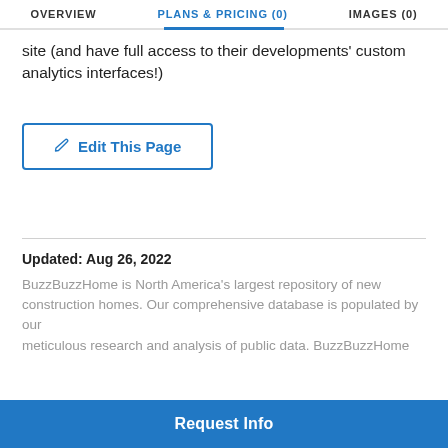OVERVIEW   PLANS & PRICING (0)   IMAGES (0)
site (and have full access to their developments' custom analytics interfaces!)
Edit This Page
Updated: Aug 26, 2022
BuzzBuzzHome is North America's largest repository of new construction homes. Our comprehensive database is populated by our meticulous research and analysis of public data. BuzzBuzzHome strives
Request Info